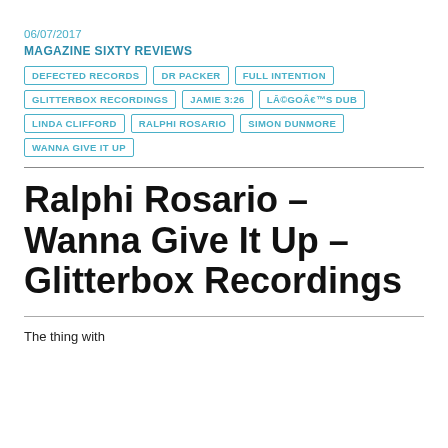06/07/2017
MAGAZINE SIXTY REVIEWS
DEFECTED RECORDS
DR PACKER
FULL INTENTION
GLITTERBOX RECORDINGS
JAMIE 3:26
LĀ©GOÂ€™S DUB
LINDA CLIFFORD
RALPHI ROSARIO
SIMON DUNMORE
WANNA GIVE IT UP
Ralphi Rosario – Wanna Give It Up – Glitterbox Recordings
The thing with